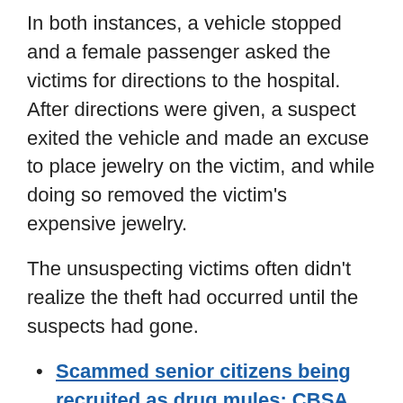In both instances, a vehicle stopped and a female passenger asked the victims for directions to the hospital. After directions were given, a suspect exited the vehicle and made an excuse to place jewelry on the victim, and while doing so removed the victim's expensive jewelry.
The unsuspecting victims often didn't realize the theft had occurred until the suspects had gone.
Scammed senior citizens being recruited as drug mules: CBSA
The female suspect in the Abbotsford thefts is described as:
South Asian or Middle Eastern in appearance.
50 to 60 years old, with a heavy build and black